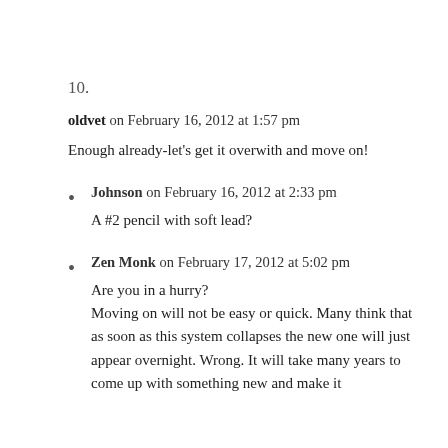10.
oldvet on February 16, 2012 at 1:57 pm
Enough already-let's get it overwith and move on!
Johnson on February 16, 2012 at 2:33 pm
A #2 pencil with soft lead?
Zen Monk on February 17, 2012 at 5:02 pm
Are you in a hurry?
Moving on will not be easy or quick. Many think that as soon as this system collapses the new one will just appear overnight. Wrong. It will take many years to come up with something new and make it